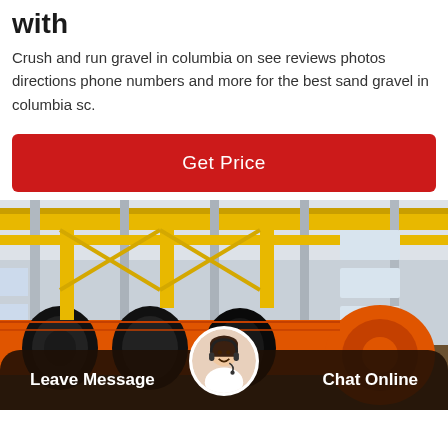with
Crush and run gravel in columbia on see reviews photos directions phone numbers and more for the best sand gravel in columbia sc.
[Figure (other): Red 'Get Price' button]
[Figure (photo): Industrial factory interior showing large orange machinery with conveyor belts and black circular components, overhead crane structure with yellow beams, white industrial building with large windows.]
Leave Message
Chat Online